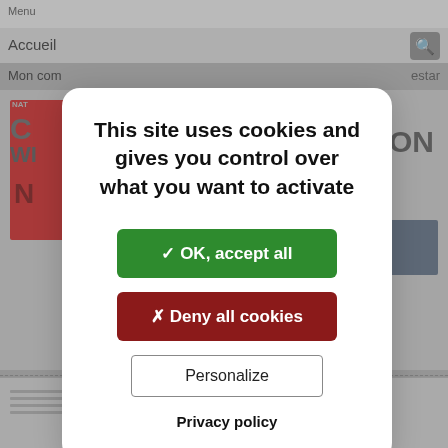[Figure (screenshot): Background of a French bookstore website showing navigation bar with 'Accueil' and search icon, 'Mon compte' link, book cover in red, 'ON' text, price '10.50 €', 'Grand format' label, and 'Épuisé' status with circle-x icon.]
This site uses cookies and gives you control over what you want to activate
✓ OK, accept all
✗ Deny all cookies
Personalize
Privacy policy